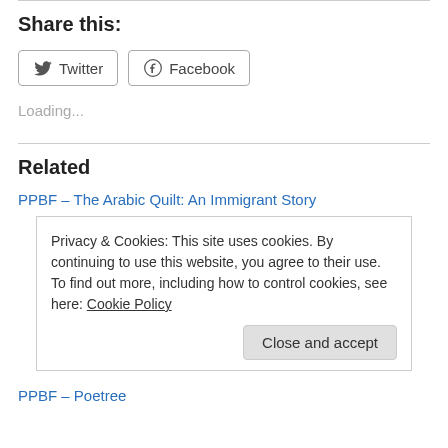Share this:
[Figure (other): Twitter and Facebook share buttons]
Loading...
Related
PPBF – The Arabic Quilt: An Immigrant Story
Privacy & Cookies: This site uses cookies. By continuing to use this website, you agree to their use.
To find out more, including how to control cookies, see here: Cookie Policy
Close and accept
PPBF – Poetree